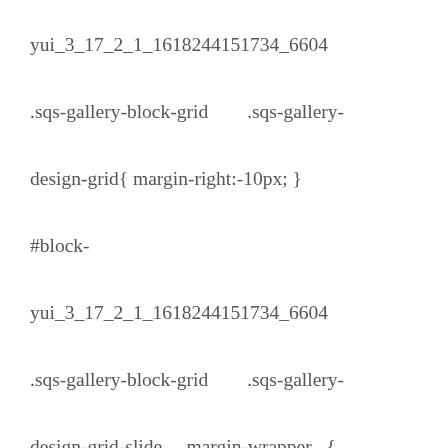yui_3_17_2_1_1618244151734_6604 .sqs-gallery-block-grid .sqs-gallery-design-grid{ margin-right:-10px; } #block-yui_3_17_2_1_1618244151734_6604 .sqs-gallery-block-grid .sqs-gallery-design-grid-slide .margin-wrapper { margin-right: 10px; margin-bottom: 10px; }